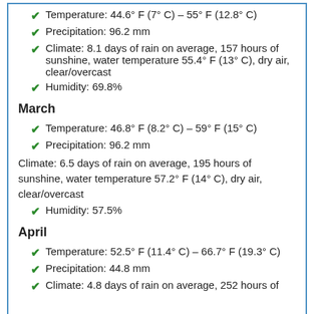Temperature: 44.6° F (7° C) – 55° F (12.8° C)
Precipitation: 96.2 mm
Climate: 8.1 days of rain on average, 157 hours of sunshine, water temperature 55.4° F (13° C), dry air, clear/overcast
Humidity: 69.8%
March
Temperature: 46.8° F (8.2° C) – 59° F (15° C)
Precipitation: 96.2 mm
Climate: 6.5 days of rain on average, 195 hours of sunshine, water temperature 57.2° F (14° C), dry air, clear/overcast
Humidity: 57.5%
April
Temperature: 52.5° F (11.4° C) – 66.7° F (19.3° C)
Precipitation: 44.8 mm
Climate: 4.8 days of rain on average, 252 hours of